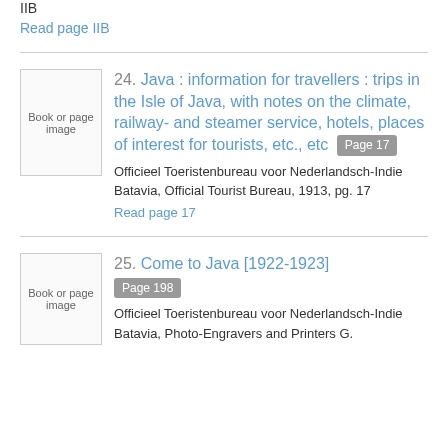IIB
Read page IIB
24. Java : information for travellers : trips in the Isle of Java, with notes on the climate, railway- and steamer service, hotels, places of interest for tourists, etc., etc  Page 17
Officieel Toeristenbureau voor Nederlandsch-Indie
Batavia, Official Tourist Bureau, 1913, pg. 17
Read page 17
25. Come to Java [1922-1923]  Page 198
Officieel Toeristenbureau voor Nederlandsch-Indie
Batavia, Photo-Engravers and Printers G.